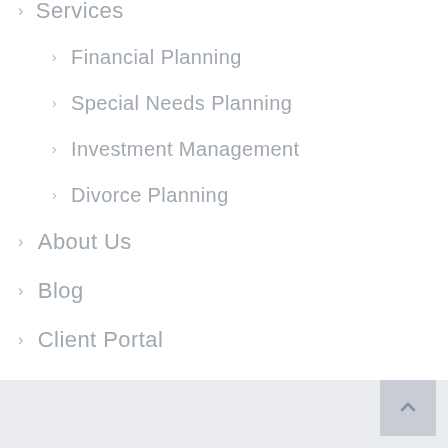Services
Financial Planning
Special Needs Planning
Investment Management
Divorce Planning
About Us
Blog
Client Portal
Contact